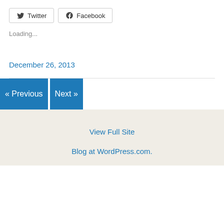[Figure (other): Share buttons: Twitter and Facebook with icons]
Loading...
December 26, 2013
« Previous
Next »
View Full Site
Blog at WordPress.com.